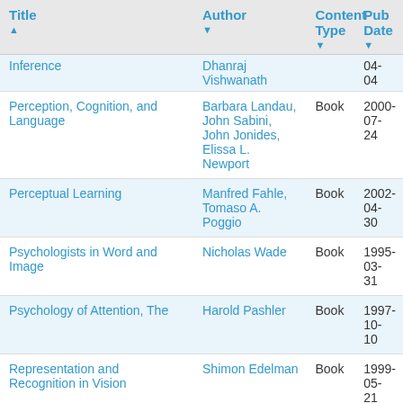| Title | Author | Content Type | Pub Date |
| --- | --- | --- | --- |
| Inference | Dhanraj Vishwanath |  | 04-04 |
| Perception, Cognition, and Language | Barbara Landau, John Sabini, John Jonides, Elissa L. Newport | Book | 2000-07-24 |
| Perceptual Learning | Manfred Fahle, Tomaso A. Poggio | Book | 2002-04-30 |
| Psychologists in Word and Image | Nicholas Wade | Book | 1995-03-31 |
| Psychology of Attention, The | Harold Pashler | Book | 1997-10-10 |
| Representation and Recognition in Vision | Shimon Edelman | Book | 1999-05-21 |